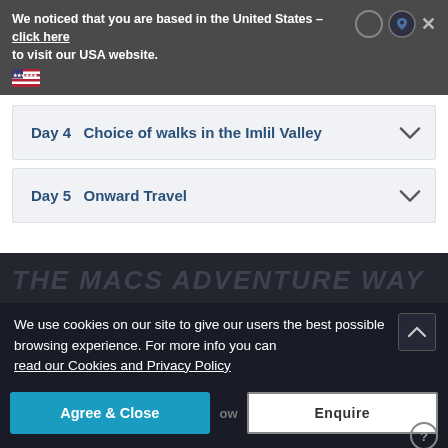We noticed that you are based in the United States - click here to visit our USA website.
Day 4  Choice of walks in the Imlil Valley
Day 5  Onward Travel
THE MACS ADVENTURE WAY
We use cookies on our site to give our users the best possible browsing experience. For more info you can read our Cookies and Privacy Policy
Agree & Close   Enquire